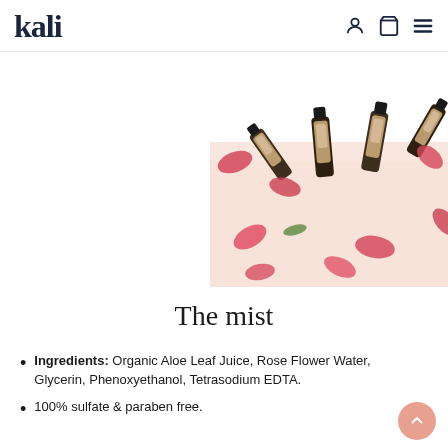kali
[Figure (photo): Product photo showing multiple amber/dark glass bottles with black caps and beige labels, surrounded by pink rose petals and green leaves on a white and light pink background]
The mist
Ingredients: Organic Aloe Leaf Juice, Rose Flower Water, Glycerin, Phenoxyethanol, Tetrasodium EDTA.
100% sulfate & paraben free.